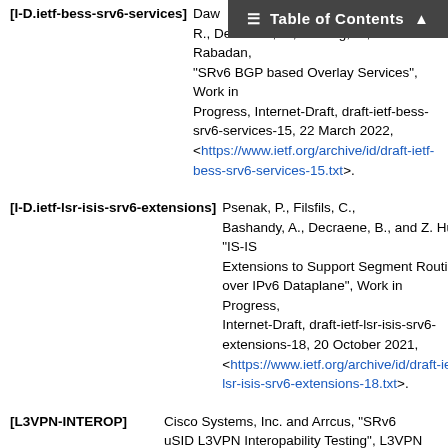[I-D.ietf-bess-srv6-services]  Dawra, G., Filsfils, C., Talaulikar, K., Ramamoorthi, R., Decraene, B., Zhuang, S., and J. Rabadan, "SRv6 BGP based Overlay Services", Work in Progress, Internet-Draft, draft-ietf-bess-srv6-services-15, 22 March 2022, <https://www.ietf.org/archive/id/draft-ietf-bess-srv6-services-15.txt>.
[I-D.ietf-lsr-isis-srv6-extensions]  Psenak, P., Filsfils, C., Bashandy, A., Decraene, B., and Z. Hu, "IS-IS Extensions to Support Segment Routing over IPv6 Dataplane", Work in Progress, Internet-Draft, draft-ietf-lsr-isis-srv6-extensions-18, 20 October 2021, <https://www.ietf.org/archive/id/draft-ietf-lsr-isis-srv6-extensions-18.txt>.
[L3VPN-INTEROP]  Cisco Systems, Inc. and Arrcus, "SRv6 uSID L3VPN Interopability Testing", L3VPN Interop , December 2020, <https://www.segment-routing.net/demos/2020-12-22-SRv6-uSID-...